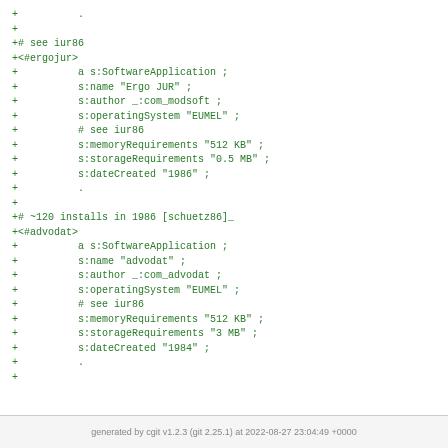+          .
+
+# see iur86
+<#ergojur>
+          a s:SoftwareApplication ;
+          s:name "Ergo JUR" ;
+          s:author _:com_modsoft ;
+          s:operatingSystem "EUMEL" ;
+          # see iur86
+          s:memoryRequirements "512 KB" ;
+          s:storageRequirements "0.5 MB" ;
+          s:dateCreated "1986" ;
+          .
+
+# ~120 installs in 1986 [schuetz86]_
+<#advodat>
+          a s:SoftwareApplication ;
+          s:name "advodat" ;
+          s:author _:com_advodat ;
+          s:operatingSystem "EUMEL" ;
+          # see iur86
+          s:memoryRequirements "512 KB" ;
+          s:storageRequirements "3 MB" ;
+          s:dateCreated "1984" ;
+          .
+
generated by cgit v1.2.3 (git 2.25.1) at 2022-08-27 23:04:49 +0000